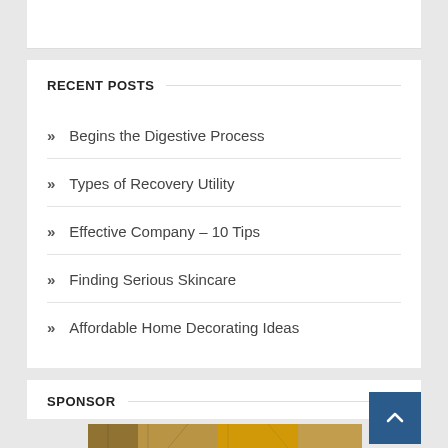RECENT POSTS
Begins the Digestive Process
Types of Recovery Utility
Effective Company – 10 Tips
Finding Serious Skincare
Affordable Home Decorating Ideas
SPONSOR
[Figure (photo): Sponsor banner image showing industrial/warehouse interior with yellow and dark tones]